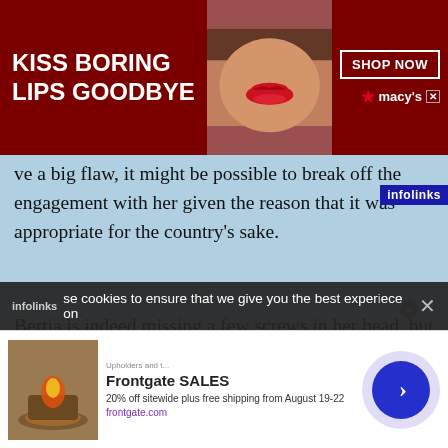[Figure (screenshot): Banner advertisement for Macy's: dark red background with text 'KISS BORING LIPS GOODBYE', a woman's face with red lips in the center, and 'SHOP NOW' button with Macy's logo and star on the right.]
ve a big flaw, it might be possible to break off the engagement with her given the reason that it was appropriate for the country's sake.
[Figure (screenshot): Infolinks badge in blue on upper right.]
Bertia is indeed missing a few screws in her head, but for some reason, her popularity... mention her abilities, there...
[Figure (screenshot): Accessibility icon (wheelchair symbol) in blue square on left side.]
She's a naïve person who ca... and she's also doing her be...
[Figure (screenshot): Video player overlay (black panel with loading circle and X close button).]
[Figure (screenshot): Cookie consent bar: 'se cookies to ensure that we give you the best experience on' with X close button and infolinks label.]
[Figure (screenshot): Bottom advertisement: Frontgate SALES - 20% off sitewide plus free shipping from August 19-22, frontgate.com, with product image and navigation button.]